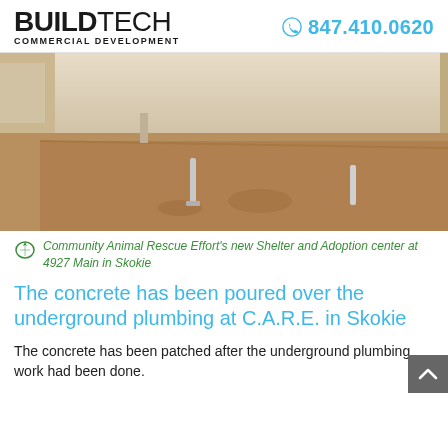BUILDTECH COMMERCIAL DEVELOPMENT  847.410.0620
[Figure (photo): Interior construction photo showing a concrete floor with exposed plumbing pipes stub-outs and white-painted concrete block walls at C.A.R.E. shelter in Skokie]
Community Animal Rescue Effort's new Shelter and Adoption center at 4927 Main in Skokie
The concrete has been poured over the underground plumbing at C.A.R.E. in Skokie
The concrete has been patched after the underground plumbing work had been done.